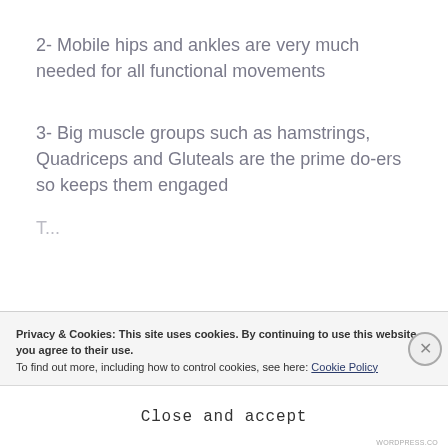2- Mobile hips and ankles are very much needed for all functional movements
3- Big muscle groups such as hamstrings, Quadriceps and Gluteals are the prime do-ers so keeps them engaged
Privacy & Cookies: This site uses cookies. By continuing to use this website, you agree to their use. To find out more, including how to control cookies, see here: Cookie Policy
Close and accept